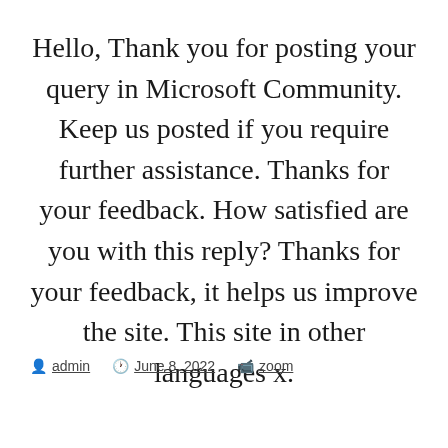Hello, Thank you for posting your query in Microsoft Community. Keep us posted if you require further assistance. Thanks for your feedback. How satisfied are you with this reply? Thanks for your feedback, it helps us improve the site. This site in other languages x.
admin  June 8, 2022  zoom